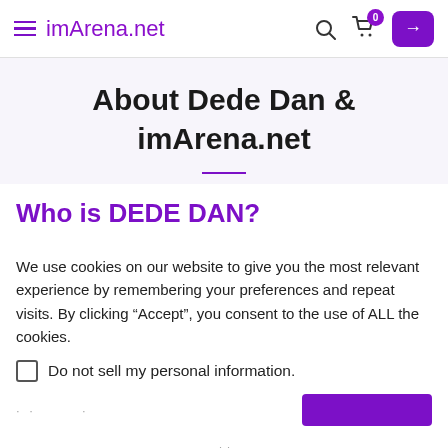imArena.net
About Dede Dan & imArena.net
Who is DEDE DAN?
We use cookies on our website to give you the most relevant experience by remembering your preferences and repeat visits. By clicking “Accept”, you consent to the use of ALL the cookies.
Do not sell my personal information.